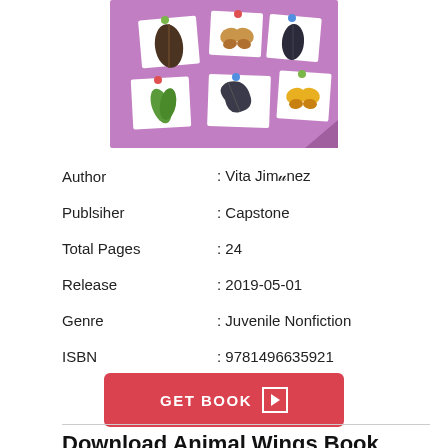[Figure (illustration): Book cover with purple background showing flashcard-style cards with animal wing illustrations including feathers, leaves, butterfly wings, and other wing images pinned or arranged on a purple background.]
| Author | : Vita Jimènez |
| Publsiher | : Capstone |
| Total Pages | : 24 |
| Release | : 2019-05-01 |
| Genre | : Juvenile Nonfiction |
| ISBN | : 9781496635921 |
GET BOOK ▶
Download Animal Wings Book